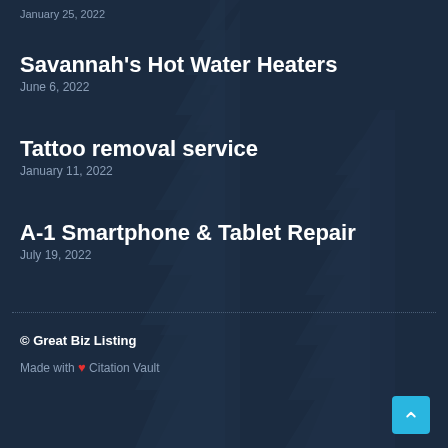January 25, 2022
Savannah's Hot Water Heaters
June 6, 2022
Tattoo removal service
January 11, 2022
A-1 Smartphone & Tablet Repair
July 19, 2022
© Great Biz Listing  Made with ❤ Citation Vault